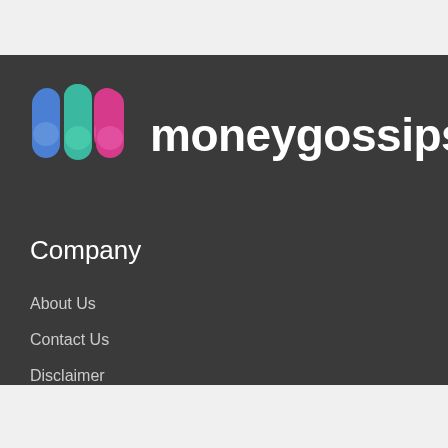[Figure (logo): moneygossips logo with colorful pill-shaped icons (blue, teal, pink, teal) and white text 'moneygossips']
Company
About Us
Contact Us
Disclaimer